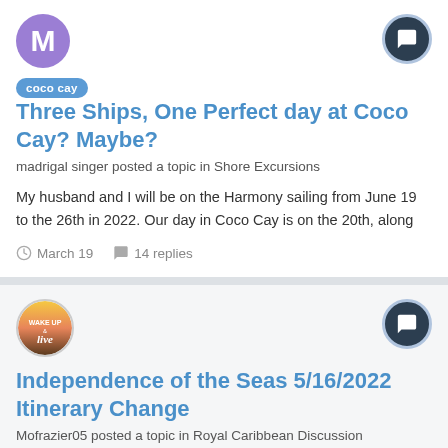[Figure (illustration): Purple circular avatar with letter M]
coco cay  Three Ships, One Perfect day at Coco Cay? Maybe?
madrigal singer posted a topic in Shore Excursions
My husband and I will be on the Harmony sailing from June 19 to the 26th in 2022. Our day in Coco Cay is on the 20th, along
March 19   14 replies
[Figure (illustration): Circular avatar image with 'Wake Up & Live' text/graphic]
Independence of the Seas 5/16/2022 Itinerary Change
Mofrazier05 posted a topic in Royal Caribbean Discussion
Hi All! Question for anyone that can answer. Got an email stating that our itinerary was changed for our sailing. Coco Cay